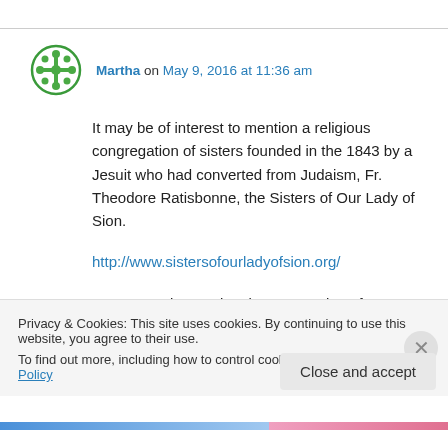Martha on May 9, 2016 at 11:36 am
It may be of interest to mention a religious congregation of sisters founded in the 1843 by a Jesuit who had converted from Judaism, Fr. Theodore Ratisbonne, the Sisters of Our Lady of Sion.
http://www.sistersofourladyofsion.org/
“We are an international Congregation of
Privacy & Cookies: This site uses cookies. By continuing to use this website, you agree to their use.
To find out more, including how to control cookies, see here: Cookie Policy